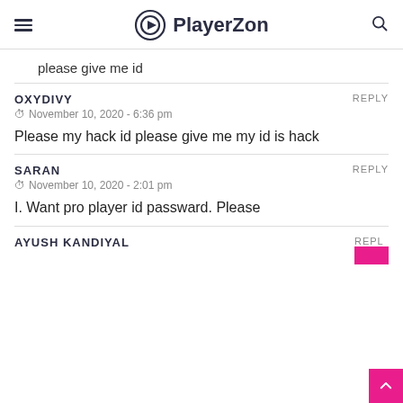PlayerZon
please give me id
OXYDIVY
November 10, 2020 - 6:36 pm
Please my hack id please give me my id is hack
SARAN
November 10, 2020 - 2:01 pm
I. Want pro player id passward. Please
AYUSH KANDIYAL